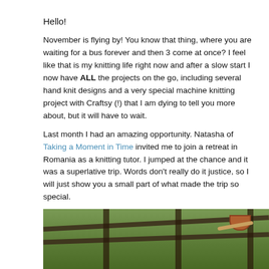Hello!
November is flying by! You know that thing, where you are waiting for a bus forever and then 3 come at once? I feel like that is my knitting life right now and after a slow start I now have ALL the projects on the go, including several hand knit designs and a very special machine knitting project with Craftsy (!) that I am dying to tell you more about, but it will have to wait.
Last month I had an amazing opportunity. Natasha of Taking a Moment in Time invited me to join a retreat in Romania as a knitting tutor. I jumped at the chance and it was a superlative trip. Words don't really do it justice, so I will just show you a small part of what made the trip so special.
[Figure (photo): Outdoor photo showing a wooden fence with rails and posts, a wooden bowl and stick resting on the fence, with green grass/countryside in the background.]